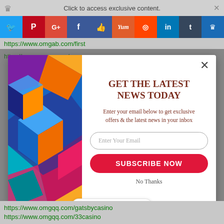Click to access exclusive content.
[Figure (screenshot): Social media sharing bar with Twitter, Pinterest, G+, Facebook, Like, Yum, Reddit, LinkedIn, Tumblr, and crown icon buttons]
https://www.omgab.com/first
[Figure (screenshot): Modal popup with colorful geometric 3D cube illustration on the left and newsletter signup form on the right. Title: GET THE LATEST NEWS TODAY. Description: Enter your email below to get exclusive offers & the latest news in your inbox. Email input field, SUBSCRIBE NOW button, No Thanks link. Close X button top right. Powered by SUMO badge at bottom.]
https://www.omgqq.com/gatsbycasino
https://www.omgqq.com/33casino